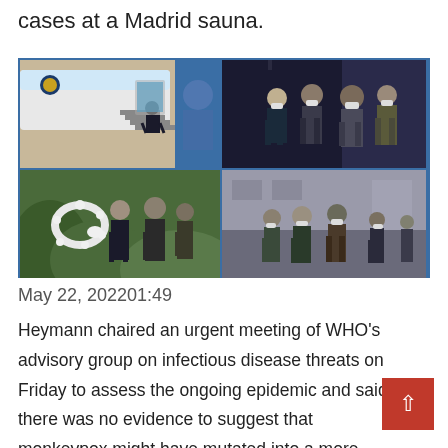cases at a Madrid sauna.
[Figure (photo): Four-panel photo collage showing political figures including President Biden arriving by plane (top left), masked officials walking in a group (top right), a wreath-laying ceremony (bottom left), and officials walking on a tarmac (bottom right).]
May 22, 202201:49
Heymann chaired an urgent meeting of WHO's advisory group on infectious disease threats on Friday to assess the ongoing epidemic and said there was no evidence to suggest that monkeypox might have mutated into a more infectious form.